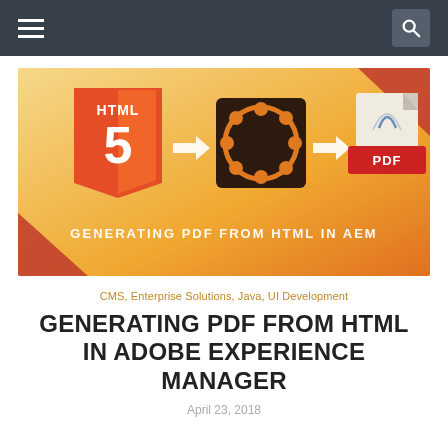[Figure (illustration): Hero banner showing HTML5 logo arrow pointing to Adobe Experience Manager circular logo arrow pointing to PDF icon, with text 'GENERATING PDF FROM HTML IN AEM' on an orange gradient background with red corner accents]
CMS, Enterprise Solutions, Java, UI Development
GENERATING PDF FROM HTML IN ADOBE EXPERIENCE MANAGER
April 23, 2018